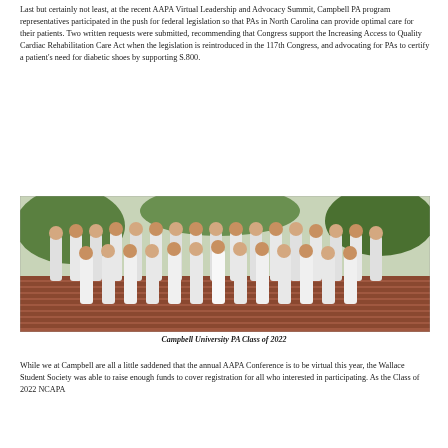Last but certainly not least, at the recent AAPA Virtual Leadership and Advocacy Summit, Campbell PA program representatives participated in the push for federal legislation so that PAs in North Carolina can provide optimal care for their patients. Two written requests were submitted, recommending that Congress support the Increasing Access to Quality Cardiac Rehabilitation Care Act when the legislation is reintroduced in the 117th Congress, and advocating for PAs to certify a patient's need for diabetic shoes by supporting S.800.
[Figure (photo): Group photo of Campbell University PA Class of 2022, a large group of students wearing white coats standing on outdoor steps in front of a brick building.]
Campbell University PA Class of 2022
While we at Campbell are all a little saddened that the annual AAPA Conference is to be virtual this year, the Wallace Student Society was able to raise enough funds to cover registration for all who interested in participating. As the Class of 2022 NCAPA